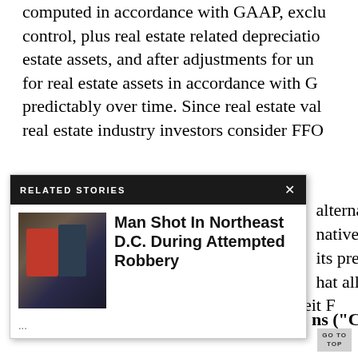computed in accordance with GAAP, excluding noncontrolling interest control, plus real estate related depreciation and amortization of real estate assets, and after adjustments for unconsolidated partnerships for real estate assets in accordance with GAAP, do not decline predictably over time. Since real estate values have historically risen, real estate industry investors consider FFO as an alternative to net income, an alternative to cash flows, and its presentation has been adopted so that all REITs may present it on a comparable basis.
[Figure (other): Related Stories overlay popup with header 'RELATED STORIES' and close X button, showing a story thumbnail image and headline 'Man Shot In Northeast D.C. During Attempted Robbery' with ellipsis below]
ns ("Core FFO"
The Company defines Core FFO as Noreit FFO market lease intangibles and (ii) cer inf